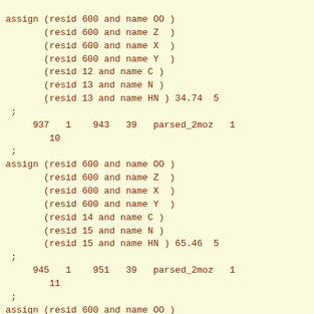assign (resid 600 and name OO )
       (resid 600 and name Z  )
       (resid 600 and name X  )
       (resid 600 and name Y  )
       (resid 12 and name C )
       (resid 13 and name N )
       (resid 13 and name HN ) 34.74  5
 ;
     937   1    943   39   parsed_2moz   1
        10
 ;
assign (resid 600 and name OO )
       (resid 600 and name Z  )
       (resid 600 and name X  )
       (resid 600 and name Y  )
       (resid 14 and name C )
       (resid 15 and name N )
       (resid 15 and name HN ) 65.46  5
 ;
     945   1    951   39   parsed_2moz   1
        11
 ;
assign (resid 600 and name OO )
       (resid 600 and name Z  )
       (resid 600 and name X  )
       (resid 600 and name Y  )
       (resid 15 and name C )
       (resid 16 and name N )
       (resid 16 and name HN ) 41.14  5
 ;